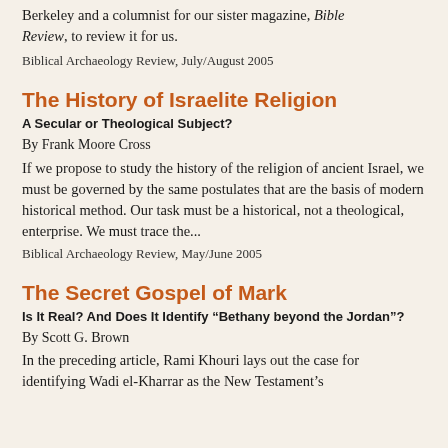Berkeley and a columnist for our sister magazine, Bible Review, to review it for us.
Biblical Archaeology Review, July/August 2005
The History of Israelite Religion
A Secular or Theological Subject?
By Frank Moore Cross
If we propose to study the history of the religion of ancient Israel, we must be governed by the same postulates that are the basis of modern historical method. Our task must be a historical, not a theological, enterprise. We must trace the...
Biblical Archaeology Review, May/June 2005
The Secret Gospel of Mark
Is It Real? And Does It Identify “Bethany beyond the Jordan”?
By Scott G. Brown
In the preceding article, Rami Khouri lays out the case for identifying Wadi el-Kharrar as the New Testament’s